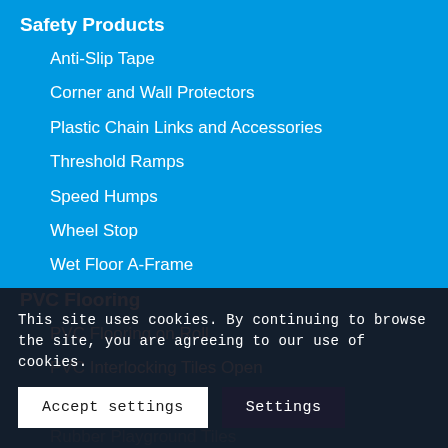Safety Products
Anti-Slip Tape
Corner and Wall Protectors
Plastic Chain Links and Accessories
Threshold Ramps
Speed Humps
Wheel Stop
Wet Floor A-Frame
PVC Flooring
PVC Flooring on Roll
PVC Interlocking Tiles Open
Outdoor Tiles
Rubber Playground Tiles
Artificial Gra...
This site uses cookies. By continuing to browse the site, you are agreeing to our use of cookies.
Accept settings
Settings